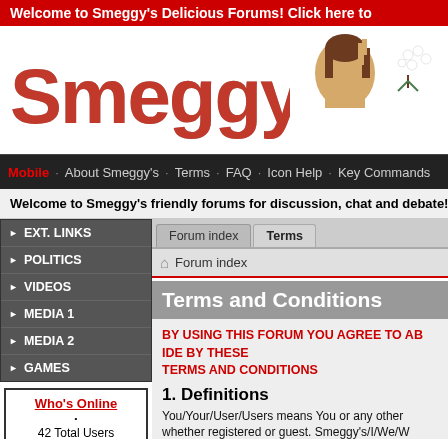Welcome to Smeggy's Delicious Forums! Click here to
[Figure (logo): Smeggy's forum logo with red text and snow effect, accompanied by an image of Jesus giving the middle finger and mistletoe]
Mobile  About Smeggy's · Terms · FAQ · Icon Help · Key Commands
Welcome to Smeggy's friendly forums for discussion, chat and debate! Click here
EXT. LINKS
POLITICS
VIDEOS
MEDIA 1
MEDIA 2
GAMES
Who's Online
42 Total Users
1 Registered
41 Guests
Terms and Conditions
BY USING THIS FORUM YOU AGREE TO ABIDE BY THESE TERMS AND CONDITIONS
1. Definitions
You/Your/User/Users means You or any other person, whether registered or guest. Smeggy's/I/We/W